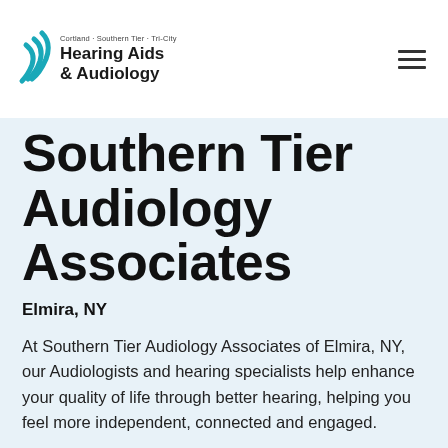Cortland · Southern Tier · Tri-City Hearing Aids & Audiology
Southern Tier Audiology Associates
Elmira, NY
At Southern Tier Audiology Associates of Elmira, NY, our Audiologists and hearing specialists help enhance your quality of life through better hearing, helping you feel more independent, connected and engaged.